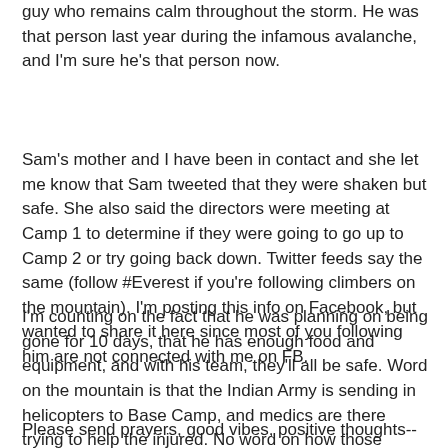guy who remains calm throughout the storm. He was that person last year during the infamous avalanche, and I'm sure he's that person now.
Sam's mother and I have been in contact and she let me know that Sam tweeted that they were shaken but safe. She also said the directors were meeting at Camp 1 to determine if they were going to go up to Camp 2 or try going back down. Twitter feeds say the same (follow #Everest if you're following climbers on the mountain). I'm posting this info on Facebook, but wanted to share it here since most of you following him are not connected with me on FB.
I'm counting on the fact that he was planning on being gone for 10 days, that he has enough food and equipment, and with his team, they'll all be safe. Word on the mountain is that the Indian Army is sending in helicopters to Base Camp, and medics are there trying to help the injured. No word on how those above the Ice Fall are going to get down. When I find out, I'll post here.
Please send prayers, good vibes, positive thoughts--